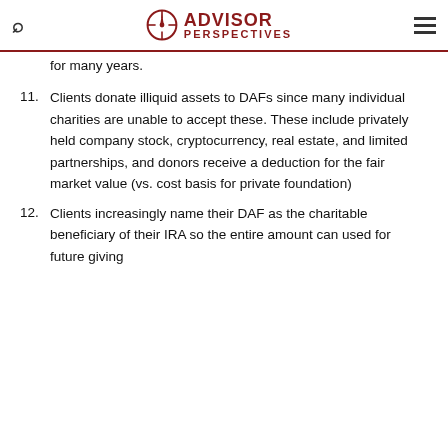ADVISOR PERSPECTIVES
for many years.
11. Clients donate illiquid assets to DAFs since many individual charities are unable to accept these. These include privately held company stock, cryptocurrency, real estate, and limited partnerships, and donors receive a deduction for the fair market value (vs. cost basis for private foundation)
12. Clients increasingly name their DAF as the charitable beneficiary of their IRA so the entire amount can used for future giving